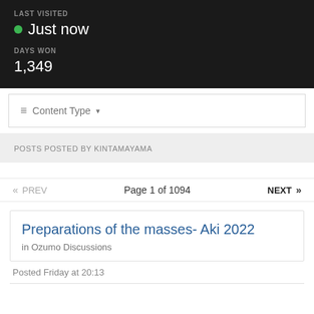LAST VISITED
Just now
DAYS WON
1,349
Content Type
POSTS POSTED BY KINTAMAYAMA
Page 1 of 1094
Preparations of the masses- Aki 2022
in Ozumo Discussions
Posted Friday at 20:13